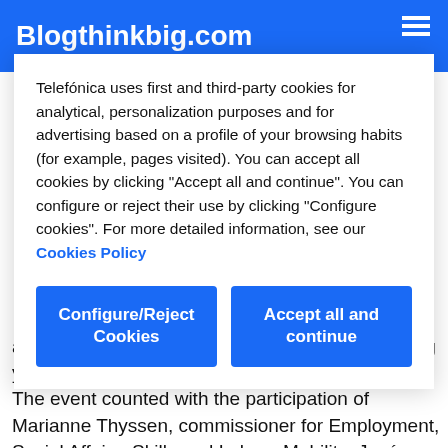Blogthinkbig.com
Telefónica uses first and third-party cookies for analytical, personalization purposes and for advertising based on a profile of your browsing habits (for example, pages visited). You can accept all cookies by clicking "Accept all and continue". You can configure or reject their use by clicking "Configure cookies". For more detailed information, see our Cookies Policy
Configure/Reject Cookies
Accept all and continue
and Social Committee, at the conference “Tackling youth employability through innovative projects”. The event counted with the participation of Marianne Thyssen, commissioner for Employment, Social Affairs, Skills and Labour Mobility; José María Sanz Magallón